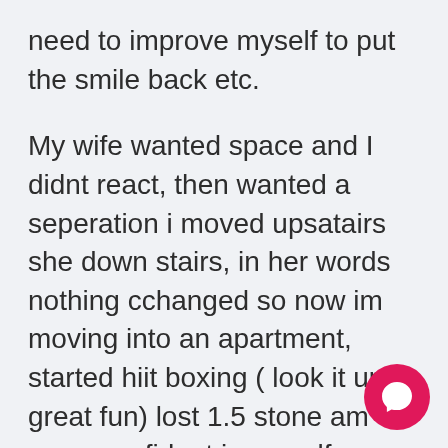need to improve myself to put the smile back etc.
My wife wanted space and I didnt react, then wanted a seperation i moved upsatairs she down stairs, in her words nothing cchanged so now im moving into an apartment, started hiit boxing ( look it up great fun) lost 1.5 stone am more confident in myself, can look in the mirror and say “Ilove you !” (couldnt look in the mirror three weeks ago!) and the bea is work mates male and female peop know and only seen at a distance in the